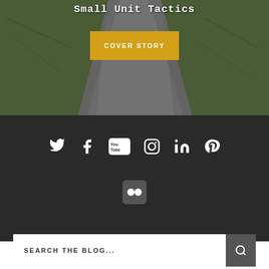[Figure (photo): Hero image showing a road/path with grass on either side, viewed from above at an angle, dark background]
Small Unit Tactics
COVER STORY
[Figure (infographic): Dark background social media icons section with Twitter, Facebook, YouTube, Instagram, LinkedIn, Pinterest, and Flickr icons]
SEARCH THE BLOG...